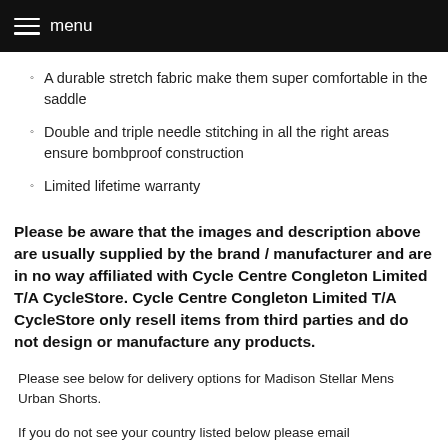menu
A durable stretch fabric make them super comfortable in the saddle
Double and triple needle stitching in all the right areas ensure bombproof construction
Limited lifetime warranty
Please be aware that the images and description above are usually supplied by the brand / manufacturer and are in no way affiliated with Cycle Centre Congleton Limited T/A CycleStore. Cycle Centre Congleton Limited T/A CycleStore only resell items from third parties and do not design or manufacture any products.
Please see below for delivery options for Madison Stellar Mens Urban Shorts.
If you do not see your country listed below please email sales@cyclestore.co.uk with details of products you wish to order and we will reply shortly with shipping costs and options.